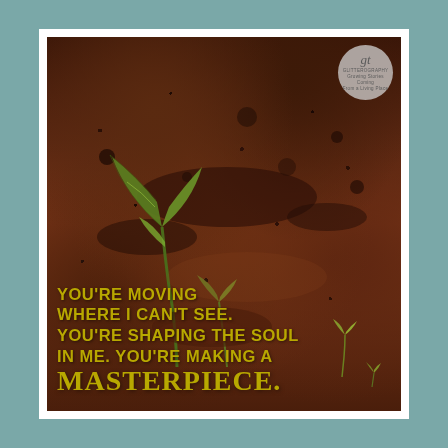[Figure (illustration): Photograph of dark brown soil with young green seedlings sprouting, overlaid with inspirational quote text in golden/olive yellow color. A circular logo watermark appears in the top right corner with the initials 'gt' and small text.]
YOU'RE MOVING WHERE I CAN'T SEE. YOU'RE SHAPING THE SOUL IN ME. YOU'RE MAKING A MASTERPIECE.